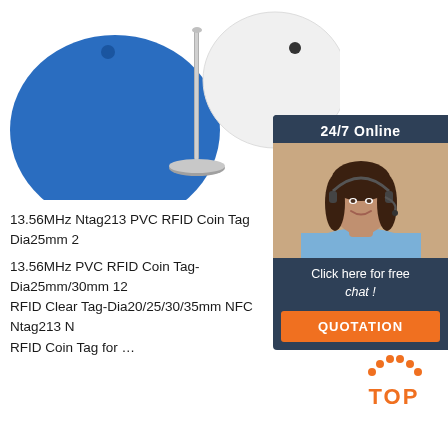[Figure (photo): Blue and white PVC RFID coin tags with a metal pin/nail, showing two round disc-shaped RFID tags and a metal fastener on a white background]
[Figure (infographic): 24/7 Online chat widget with a female customer service agent wearing a headset, with 'Click here for free chat!' text and an orange QUOTATION button]
13.56MHz Ntag213 PVC RFID Coin Tag Dia25mm 2
13.56MHz PVC RFID Coin Tag- Dia25mm/30mm 12
RFID Clear Tag-Dia20/25/30/35mm NFC Ntag213 N
RFID Coin Tag for …
[Figure (logo): TOP logo with orange text and orange dotted triangle/arch above the word TOP]
Get Price